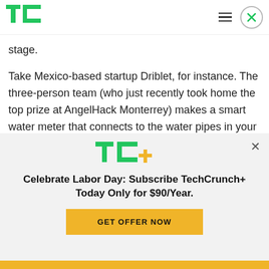[Figure (logo): TechCrunch TC green logo in header]
stage.
Take Mexico-based startup Driblet, for instance. The three-person team (who just recently took home the top prize at AngelHack Monterrey) makes a smart water meter that connects to the water pipes in your house. It sits between the pipe and your shower head for instance or between the pipe
[Figure (logo): TC+ TechCrunch Plus logo in subscription overlay]
Celebrate Labor Day: Subscribe TechCrunch+ Today Only for $90/Year.
GET OFFER NOW